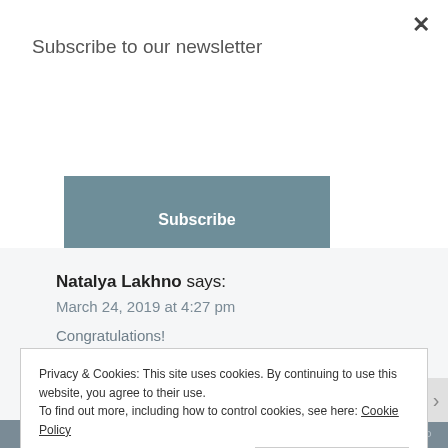Subscribe to our newsletter
[Figure (other): A teal-gray 'Subscribe' button]
Natalya Lakhno says:
March 24, 2019 at 4:27 pm
Congratulations!
Favorite city to visit – Carmel-by-the-Sea, I love ocean!
Privacy & Cookies: This site uses cookies. By continuing to use this website, you agree to their use.
To find out more, including how to control cookies, see here: Cookie Policy
Close and accept